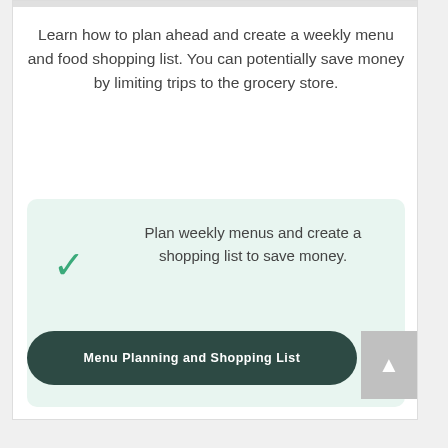Learn how to plan ahead and create a weekly menu and food shopping list. You can potentially save money by limiting trips to the grocery store.
Plan weekly menus and create a shopping list to save money.
[Figure (other): Dark teal rounded rectangle button with white bold text reading 'Menu Planning and Shopping List']